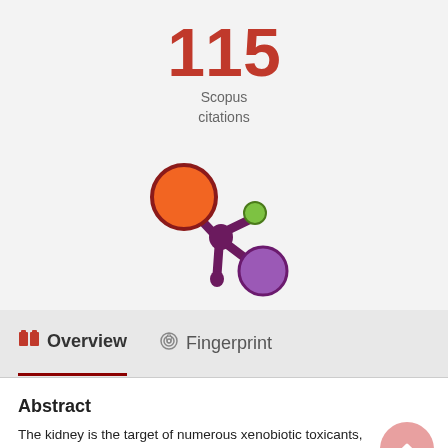115
Scopus
citations
[Figure (logo): Altmetric/Scopus style donut logo with orange large circle top-left, small green circle top-right, purple medium circle bottom-right, connected by dark purple branching lines forming a snowflake/asterisk shape]
Overview
Fingerprint
Abstract
The kidney is the target of numerous xenobiotic toxicants, including environmental chemicals. Anatomical, physiological, and